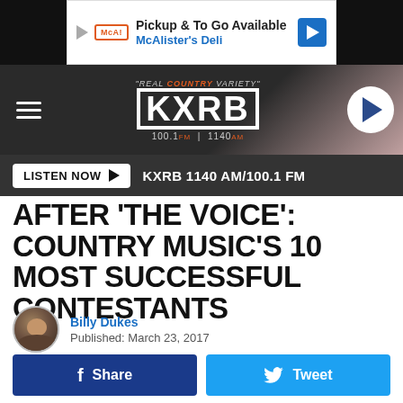[Figure (screenshot): McAlister's Deli advertisement banner: 'Pickup & To Go Available / McAlister's Deli']
[Figure (logo): KXRB radio station header: 'Real Country Variety' KXRB 100.1 FM | 1140 AM with hamburger menu and play button]
LISTEN NOW ▶  KXRB 1140 AM/100.1 FM
AFTER 'THE VOICE': COUNTRY MUSIC'S 10 MOST SUCCESSFUL CONTESTANTS
Billy Dukes
Published: March 23, 2017
A country singer has won NBC's The Voice four times, but winning doesn't necessarily mean hit songs and fame are coming quickly. The most successful country contestant on